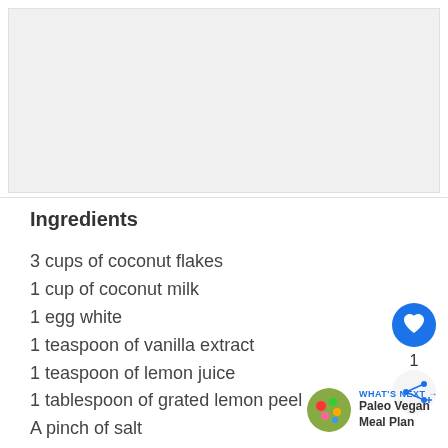[Figure (photo): Placeholder image area (grey rectangle, recipe photo region)]
Ingredients
3 cups of coconut flakes
1 cup of coconut milk
1 egg white
1 teaspoon of vanilla extract
1 teaspoon of lemon juice
1 tablespoon of grated lemon peel
A pinch of salt